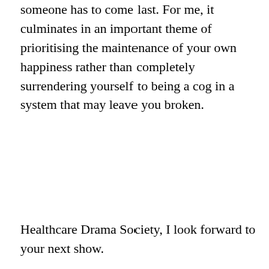someone has to come last. For me, it culminates in an important theme of prioritising the maintenance of your own happiness rather than completely surrendering yourself to being a cog in a system that may leave you broken.
Healthcare Drama Society, I look forward to your next show.